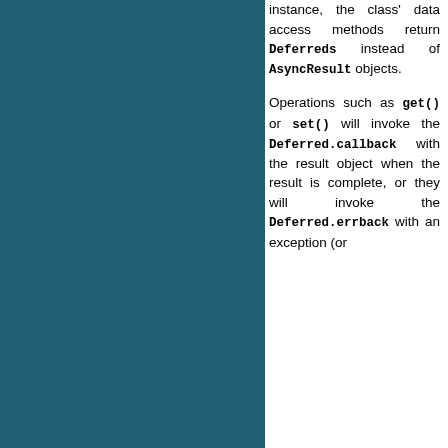instance, the class' data access methods return Deferreds instead of AsyncResult objects.
Operations such as get() or set() will invoke the Deferred.callback with the result object when the result is complete, or they will invoke the Deferred.errback with an exception (or